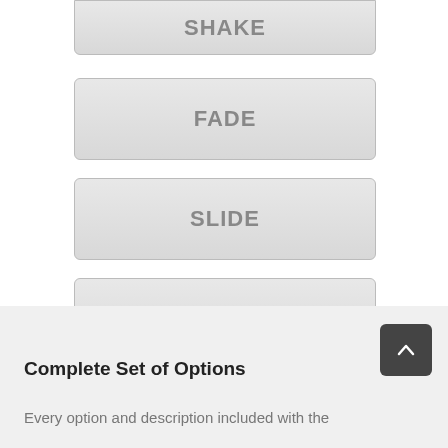[Figure (screenshot): Button labeled SHAKE with light gray background and rounded border]
[Figure (screenshot): Button labeled FADE with light gray background and rounded border]
[Figure (screenshot): Button labeled SLIDE with light gray background and rounded border]
[Figure (screenshot): Button labeled FLASH with light gray background and rounded border]
Complete Set of Options
Every option and description included with the